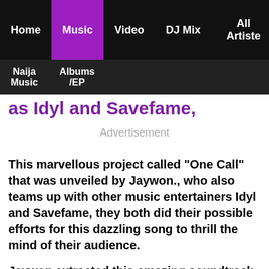Home | Music | Video | DJ Mix | All Artiste | Naija Music | Albums /EP
as Idyl and Savefame,
Advertisement
This marvellous project called "One Call" that was unveiled by Jaywon., who also teams up with other music entertainers Idyl and Savefame, they both did their possible efforts for this dazzling song to thrill the mind of their audience.
Jaywon extracted this amazing soundtrack "One Call" from his studio album for the listening pleasures of his fans and supporters, The both artist featured in this particular harmony did